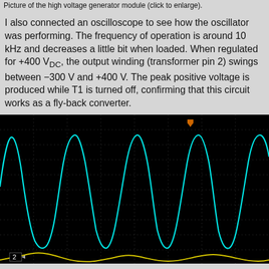Picture of the high voltage generator module (click to enlarge).
I also connected an oscilloscope to see how the oscillator was performing. The frequency of operation is around 10 kHz and decreases a little bit when loaded. When regulated for +400 V_DC, the output winding (transformer pin 2) swings between −300 V and +400 V. The peak positive voltage is produced while T1 is turned off, confirming that this circuit works as a fly-back converter.
[Figure (continuous-plot): Oscilloscope screenshot showing a 10 kHz waveform. The cyan trace (channel 1) shows a repeating peaked waveform swinging between approximately -300V and +400V. A yellow trace (channel 2) is partially visible at the bottom. An orange trigger marker labeled T is visible near the top. A channel 2 indicator labeled '2' with arrow is visible at the bottom left. The background is black with a dotted grid.]